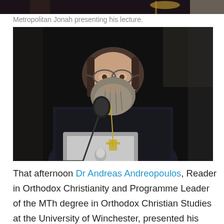[Figure (photo): Top strip of a photo showing part of a person with decorative elements, cropped]
Metropolitan Jonah presenting his lecture.
[Figure (photo): Metropolitan Jonah, a bearded man in dark clerical robes with a cross, speaking at a podium with a microphone and laptop in front of a dark curtain background]
That afternoon Dr Andreas Andreopoulos, Reader in Orthodox Christianity and Programme Leader of the MTh degree in Orthodox Christian Studies at the University of Winchester, presented his topic, examining the theological depth and beauty of the words "For All and in All". Dr